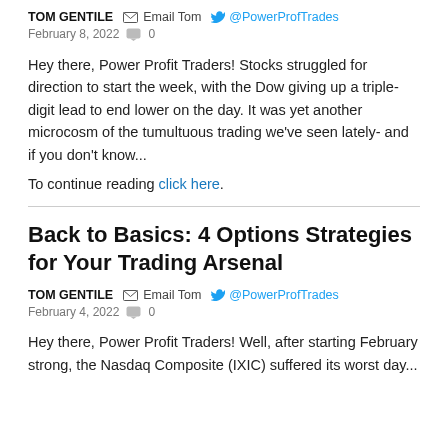TOM GENTILE  Email Tom  @PowerProfTrades
February 8, 2022  0
Hey there, Power Profit Traders! Stocks struggled for direction to start the week, with the Dow giving up a triple-digit lead to end lower on the day. It was yet another microcosm of the tumultuous trading we've seen lately- and if you don't know...
To continue reading click here.
Back to Basics: 4 Options Strategies for Your Trading Arsenal
TOM GENTILE  Email Tom  @PowerProfTrades
February 4, 2022  0
Hey there, Power Profit Traders! Well, after starting February strong, the Nasdaq Composite (IXIC) suffered its worst day...